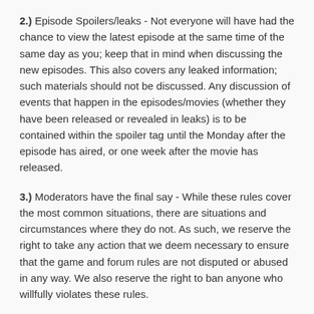2.) Episode Spoilers/leaks - Not everyone will have had the chance to view the latest episode at the same time of the same day as you; keep that in mind when discussing the new episodes. This also covers any leaked information; such materials should not be discussed. Any discussion of events that happen in the episodes/movies (whether they have been released or revealed in leaks) is to be contained within the spoiler tag until the Monday after the episode has aired, or one week after the movie has released.
3.) Moderators have the final say - While these rules cover the most common situations, there are situations and circumstances where they do not. As such, we reserve the right to take any action that we deem necessary to ensure that the game and forum rules are not disputed or abused in any way. We also reserve the right to ban anyone who willfully violates these rules.
Section Two - General Conduct for the Forums
4.) No Rule Lawyering - Attempting to enforce the rules as a user, whilst generally a nice gesture, is prohibited. It's not the